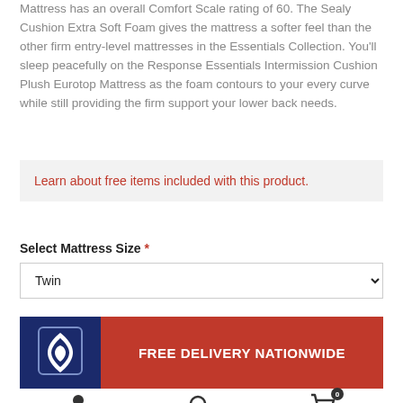Mattress has an overall Comfort Scale rating of 60. The Sealy Cushion Extra Soft Foam gives the mattress a softer feel than the other firm entry-level mattresses in the Essentials Collection. You'll sleep peacefully on the Response Essentials Intermission Cushion Plush Eurotop Mattress as the foam contours to your every curve while still providing the firm support your lower back needs.
Learn about free items included with this product.
Select Mattress Size *
Twin
[Figure (logo): BBB (Better Business Bureau) logo on dark blue background with flame/shield icon]
FREE DELIVERY NATIONWIDE
[Figure (infographic): Bottom navigation bar with user/account icon, search icon, and shopping cart icon with badge showing 0]